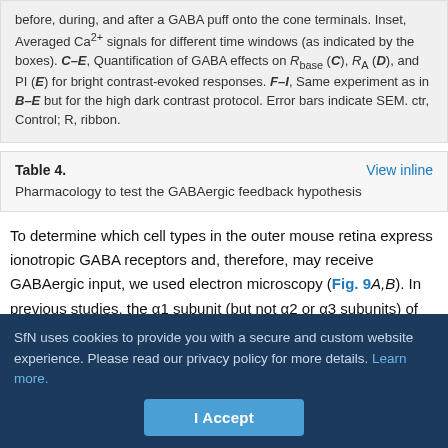before, during, and after a GABA puff onto the cone terminals. Inset, Averaged Ca2+ signals for different time windows (as indicated by the boxes). C–E, Quantification of GABA effects on Rbase (C), RA (D), and PI (E) for bright contrast-evoked responses. F–I, Same experiment as in B–E but for the high dark contrast protocol. Error bars indicate SEM. ctr, Control; R, ribbon.
| Table 4. | View inline |
| --- | --- |
| Pharmacology to test the GABAergic feedback hypothesis |  |
To determine which cell types in the outer mouse retina express ionotropic GABA receptors and, therefore, may receive GABAergic input, we used electron microscopy (Fig. 9A,B). In previous studies, the α1 subunit (but not α2 or α3 subunits) of the GABAA receptor (Haverkamp and Wässle, 2000) and ρ subunits of GABAC receptors
SfN uses cookies to provide you with a secure and custom website experience. Please read our privacy policy for more details. Learn more.